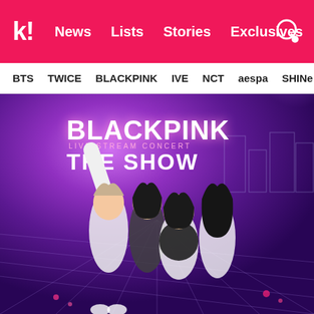k! News Lists Stories Exclusives
BTS TWICE BLACKPINK IVE NCT aespa SHINee
[Figure (photo): BLACKPINK THE SHOW live stream concert promotional photo showing four members posing on a purple-lit stage with the BLACKPINK THE SHOW text/logo in the background]